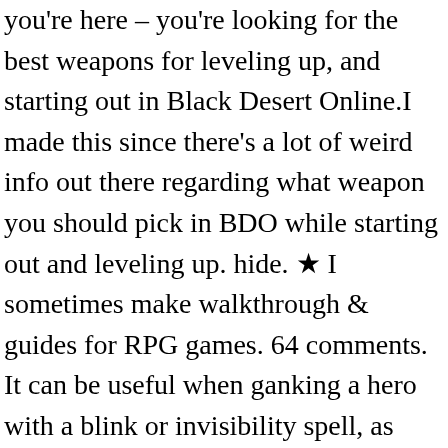you're here – you're looking for the best weapons for leveling up, and starting out in Black Desert Online.I made this since there's a lot of weird info out there regarding what weapon you should pick in BDO while starting out and leveling up. hide. ★ I sometimes make walkthrough & guides for RPG games. 64 comments. It can be useful when ganking a hero with a blink or invisibility spell, as silences tend to have longer duration than other disables giving more time to kill the enemy. 0-1. Elves not your cup of tea? 1 Objectives 2 Guide 3 Rewards 4 Quest Log Acquire the Pulsating